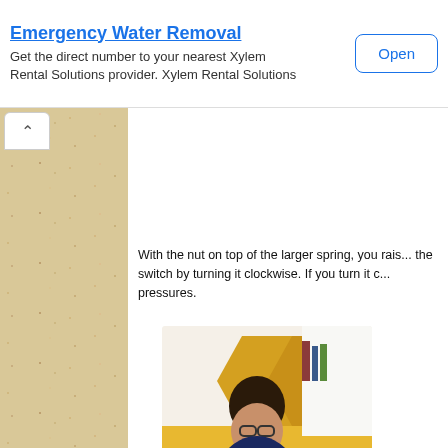Emergency Water Removal
Get the direct number to your nearest Xylem Rental Solutions provider. Xylem Rental Solutions
Open
[Figure (photo): Sand or gravel texture filling left sidebar with a small up-arrow tab button overlay]
With the nut on top of the larger spring, you raise the switch by turning it clockwise. If you turn it c... pressures.
[Figure (photo): Woman with glasses and dark hair smiling, working on a laptop in a bright room with yellow furniture and shelving]